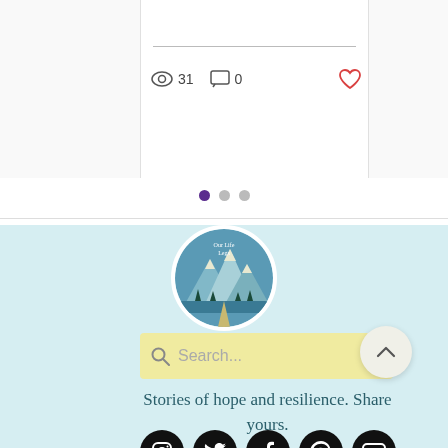[Figure (screenshot): Card with horizontal divider line, view count (eye icon) showing 31, comment icon showing 0, and red heart/like icon]
[Figure (infographic): Carousel pagination dots: one filled purple dot and two grey dots indicating slide position]
[Figure (logo): Circular logo with mountain scene and cursive text 'Our Life Legs' on a teal background]
[Figure (screenshot): Search bar with yellow/cream background showing magnifying glass icon and placeholder text 'Search...']
Stories of hope and resilience. Share yours.
[Figure (infographic): Five social media icons (Instagram, Twitter/X, Facebook, Pinterest, YouTube) as white symbols on black circles]